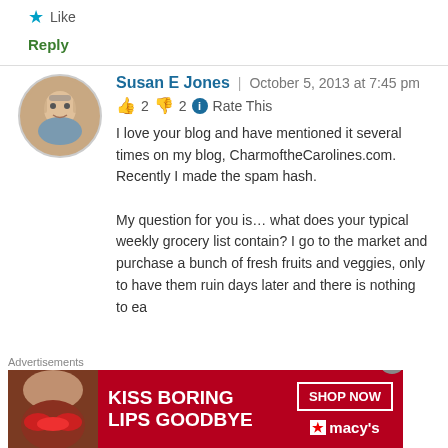★ Like
Reply
Susan E Jones | October 5, 2013 at 7:45 pm
👍 2 👎 2 ℹ Rate This
I love your blog and have mentioned it several times on my blog, CharmoftheCarolines.com. Recently I made the spam hash.

My question for you is… what does your typical weekly grocery list contain? I go to the market and purchase a bunch of fresh fruits and veggies, only to have them ruin days later and there is nothing to ea
[Figure (photo): Advertisement banner: KISS BORING LIPS GOODBYE with SHOP NOW button and Macy's logo]
Advertisements